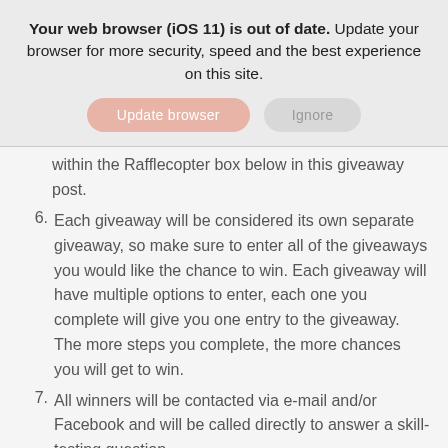Your web browser (iOS 11) is out of date. Update your browser for more security, speed and the best experience on this site.
[Figure (screenshot): Two buttons: 'Update browser' (pink/salmon rounded) and 'Ignore' (gray rounded)]
(continuation) within the Rafflecopter box below in this giveaway post.
6. Each giveaway will be considered its own separate giveaway, so make sure to enter all of the giveaways you would like the chance to win. Each giveaway will have multiple options to enter, each one you complete will give you one entry to the giveaway. The more steps you complete, the more chances you will get to win.
7. All winners will be contacted via e-mail and/or Facebook and will be called directly to answer a skill-testing question.
8. All official giveaway rules can be found he